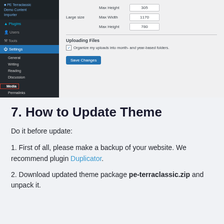[Figure (screenshot): WordPress admin panel showing Media Settings page with Large size fields (Max Width: 1170, Max Height: 780) and Uploading Files section with checkbox 'Organize my uploads into month- and year-based folders' and a Save Changes button. Left sidebar shows admin menu with Settings highlighted and Media selected with red border.]
7. How to Update Theme
Do it before update:
1. First of all, please make a backup of your website. We recommend plugin Duplicator.
2. Download updated theme package pe-terraclassic.zip and unpack it.